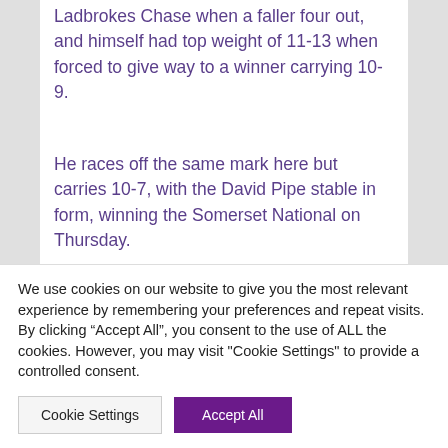Ladbrokes Chase when a faller four out, and himself had top weight of 11-13 when forced to give way to a winner carrying 10-9.
He races off the same mark here but carries 10-7, with the David Pipe stable in form, winning the Somerset National on Thursday.
Empire Steel could go down in history as one of the few to beat the 2022 Gold Cup winner, Protektorat (my forecast) but the runner-up stumbled badly that
We use cookies on our website to give you the most relevant experience by remembering your preferences and repeat visits. By clicking “Accept All”, you consent to the use of ALL the cookies. However, you may visit "Cookie Settings" to provide a controlled consent.